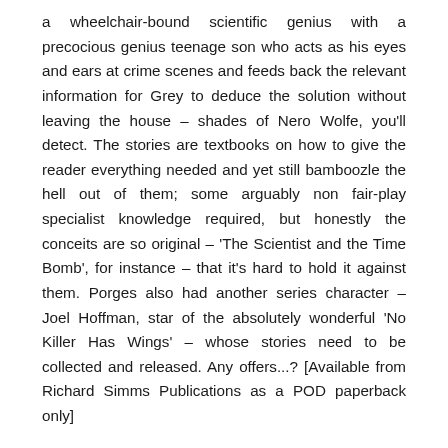a wheelchair-bound scientific genius with a precocious genius teenage son who acts as his eyes and ears at crime scenes and feeds back the relevant information for Grey to deduce the solution without leaving the house – shades of Nero Wolfe, you'll detect. The stories are textbooks on how to give the reader everything needed and yet still bamboozle the hell out of them; some arguably non fair-play specialist knowledge required, but honestly the conceits are so original – 'The Scientist and the Time Bomb', for instance – that it's hard to hold it against them. Porges also had another series character – Joel Hoffman, star of the absolutely wonderful 'No Killer Has Wings' – whose stories need to be collected and released. Any offers...? [Available from Richard Simms Publications as a POD paperback only]
Recommended reading: 'The Scientist and the Vanished Weapon', 'The Scientist and the Wife Killer', 'The Scientist and the Multiple Murder'.